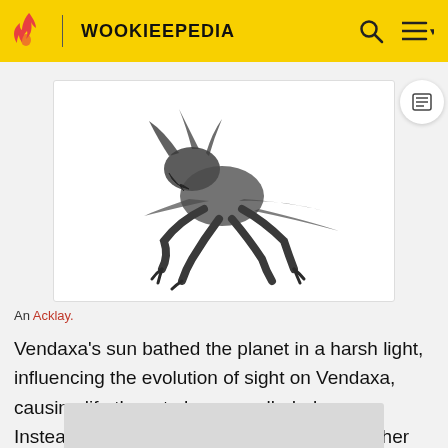WOOKIEEPEDIA
[Figure (photo): An Acklay creature — a large multi-limbed dark creature with claws and wing-like fins, photographed against a white background.]
An Acklay.
Vendaxa's sun bathed the planet in a harsh light, influencing the evolution of sight on Vendaxa, causing life there to have small, dark eyes. Instead of sight, Vendaxan life developed other ways of sensing potential prey, such as electroreception.